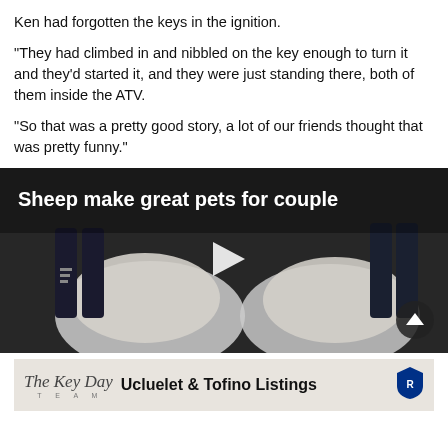Ken had forgotten the keys in the ignition.
“They had climbed in and nibbled on the key enough to turn it and they’d started it, and they were just standing there, both of them inside the ATV.
“So that was a pretty good story, a lot of our friends thought that was pretty funny.”
[Figure (screenshot): Video thumbnail showing two sheep being held by a person in a dark jacket. White text overlay reads 'Sheep make great pets for couple'. A white play button triangle is centered in the middle. A dark circular scroll-up button is in the bottom right.]
[Figure (logo): Advertisement banner for 'The Key Day Team - Ucluelet & Tofino Listings' with a Re/Max shield logo on the right.]